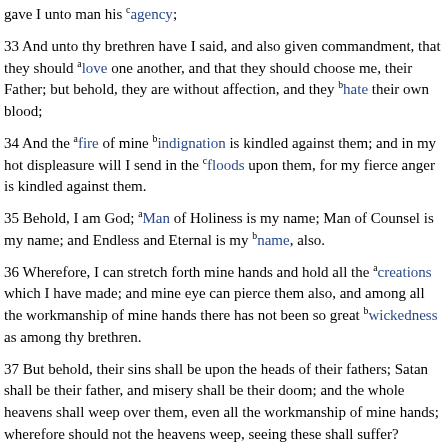gave I unto man his agency;
33 And unto thy brethren have I said, and also given commandment, that they should love one another, and that they should choose me, their Father; but behold, they are without affection, and they hate their own blood;
34 And the fire of mine indignation is kindled against them; and in my hot displeasure will I send in the floods upon them, for my fierce anger is kindled against them.
35 Behold, I am God; Man of Holiness is my name; Man of Counsel is my name; and Endless and Eternal is my name, also.
36 Wherefore, I can stretch forth mine hands and hold all the creations which I have made; and mine eye can pierce them also, and among all the workmanship of mine hands there has not been so great wickedness as among thy brethren.
37 But behold, their sins shall be upon the heads of their fathers; Satan shall be their father, and misery shall be their doom; and the whole heavens shall weep over them, even all the workmanship of mine hands; wherefore should not the heavens weep, seeing these shall suffer?